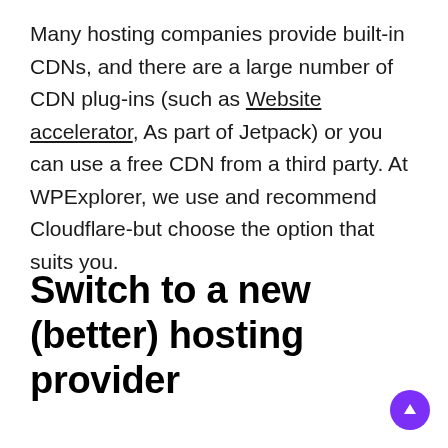Many hosting companies provide built-in CDNs, and there are a large number of CDN plug-ins (such as Website accelerator, As part of Jetpack) or you can use a free CDN from a third party. At WPExplorer, we use and recommend Cloudflare-but choose the option that suits you.
Switch to a new (better) hosting provider